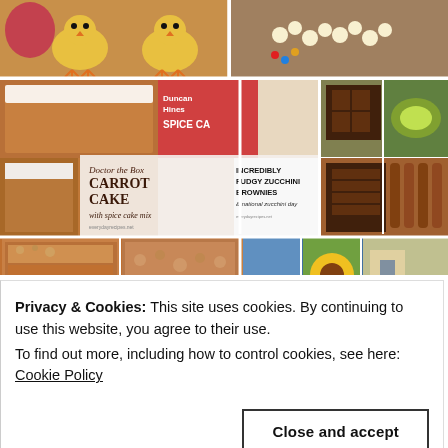[Figure (photo): Food blog photo collage showing baked goods including carrot cake, zucchini brownies, and other desserts arranged in a grid layout. Top rows show various food photos. Two collage groups visible: left side features 'Doctor the Box Carrot Cake with spice cake mix' and right side features 'Incredibly Fudgy Zucchini Brownies & national zucchini day'. Bottom row shows more food and outdoor photos.]
Privacy & Cookies: This site uses cookies. By continuing to use this website, you agree to their use.
To find out more, including how to control cookies, see here:
Cookie Policy
Close and accept